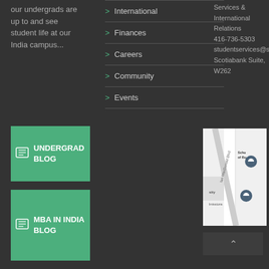our undergrads are up to and see student life at our India campus...
> International
> Finances
> Careers
> Community
> Events
[Figure (other): Green blog card button labeled UNDERGRAD BLOG with a slideshow icon]
[Figure (other): Green blog card button labeled MBA IN INDIA BLOG with a slideshow icon]
Services & International Relations 416-736-5303 studentservices@sch Scotiabank Suite, W262
[Figure (map): Google Maps screenshot showing Schot of Bu and Admissions location pins on Ian MacDonald Blvd]